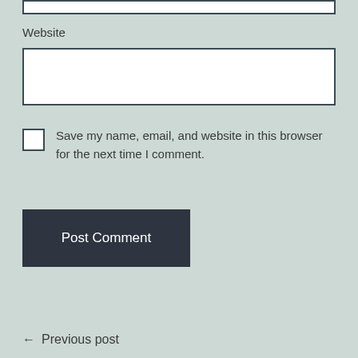Website
Save my name, email, and website in this browser for the next time I comment.
Post Comment
← Previous post